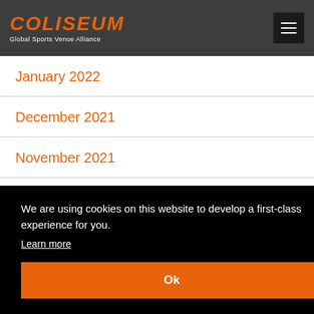COLISEUM Global Sports Venue Alliance
January 2022
December 2021
November 2021
We are using cookies on this website to develop a first-class experience for you.
Learn more
Ok